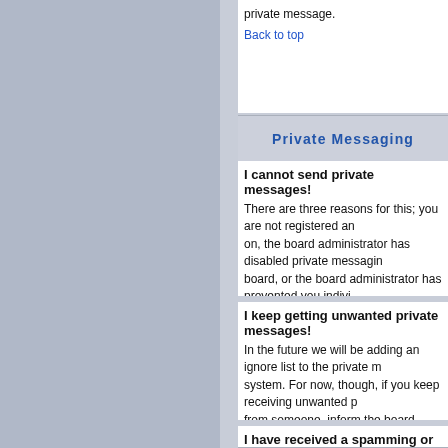private message.
Back to top
Private Messaging
I cannot send private messages!
There are three reasons for this; you are not registered and logged on, the board administrator has disabled private messaging for the entire board, or the board administrator has prevented you individually from sending messages. If it is the latter case you should try asking the administrator why.
Back to top
I keep getting unwanted private messages!
In the future we will be adding an ignore list to the private messaging system. For now, though, if you keep receiving unwanted private messages from someone, inform the board administrator -- they have the power to prevent a user from sending private messages at all.
Back to top
I have received a spamming or abusive email from someone on this board!
We are sorry to hear that. The email form feature of this board includes safeguards to try to track users who send such posts. You should email the board administrator with a full copy of the email you received.